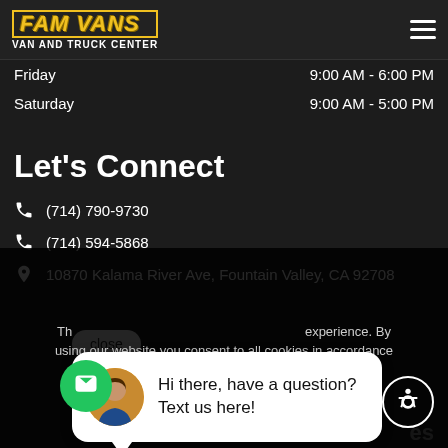FAM VANS VAN AND TRUCK CENTER
Tuesday 9:00 AM - 6:00 PM
Wednesday 9:00 AM - 6:00 PM
Thursday 9:00 AM - 6:00 PM
Friday 9:00 AM - 6:00 PM
Saturday 9:00 AM - 5:00 PM
Let's Connect
(714) 790-9730
(714) 594-5868
10870 Kalama River Ave, Fountain Valley, CA 92708
close
[Figure (screenshot): Chat popup with avatar photo of a woman and text: Hi there, have a question? Text us here!]
Hi there, have a question? Text us here!
This website uses cookies to improve your experience. By using our website you consent to all cookies in accordance with our Cookies Policy.
I Understand